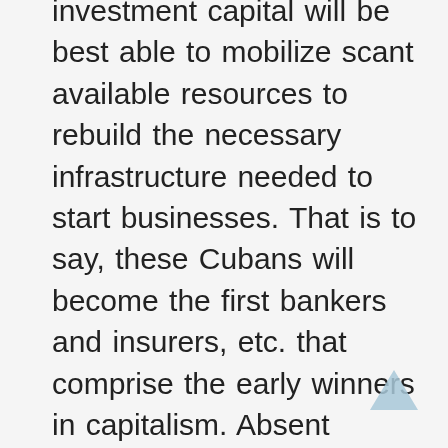investment capital will be best able to mobilize scant available resources to rebuild the necessary infrastructure needed to start businesses. That is to say, these Cubans will become the first bankers and insurers, etc. that comprise the early winners in capitalism. Absent sound regulatory policy, these first-in-line entrepreneurs will no doubt take advantage of other Cubans through usurious lending practices and bogus insurances schemes. This is what was and is being experienced in many of the former Soviet bloc countries since their transition to capitalism and even dates back to the early years in the